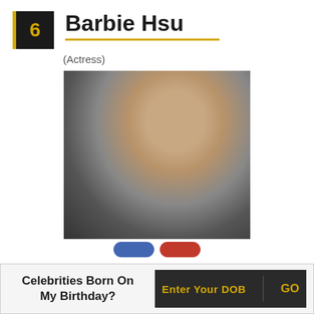6  Barbie Hsu
(Actress)
[Figure (photo): Portrait photo of Barbie Hsu, actress, with short dark hair against a gray background, bare shoulders]
Celebrities Born On My Birthday?  Enter Your DOB  GO